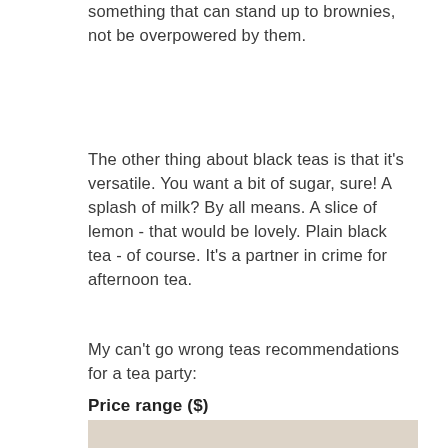something that can stand up to brownies, not be overpowered by them.
The other thing about black teas is that it's versatile. You want a bit of sugar, sure! A splash of milk? By all means. A slice of lemon - that would be lovely. Plain black tea - of course. It's a partner in crime for afternoon tea.
My can't go wrong teas recommendations for a tea party:
Price range ($)
[Figure (photo): Photo of a tea cup on a saucer, shot from above on a light background with a sprig of herbs]